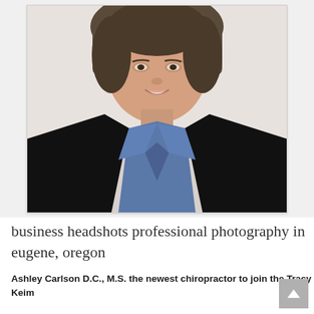[Figure (photo): Professional headshot portrait of a woman wearing a black blazer with a blue/slate collared shirt underneath, smiling, photographed against a light background. The photo is framed with a light border.]
business headshots professional photography in eugene, oregon
Ashley Carlson D.C., M.S. the newest chiropractor to join the Tracy Keim